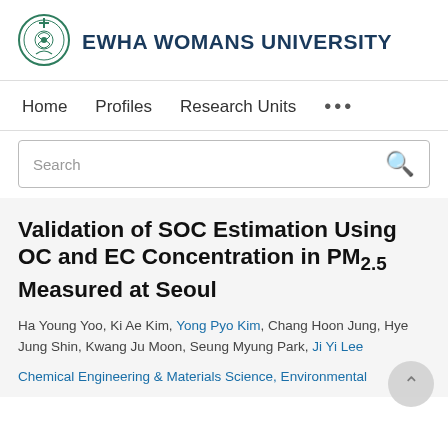[Figure (logo): Ewha Womans University circular logo with decorative emblem in green/teal]
EWHA WOMANS UNIVERSITY
Home   Profiles   Research Units   ...
Search
Validation of SOC Estimation Using OC and EC Concentration in PM2.5 Measured at Seoul
Ha Young Yoo, Ki Ae Kim, Yong Pyo Kim, Chang Hoon Jung, Hye Jung Shin, Kwang Ju Moon, Seung Myung Park, Ji Yi Lee
Chemical Engineering & Materials Science, Environmental